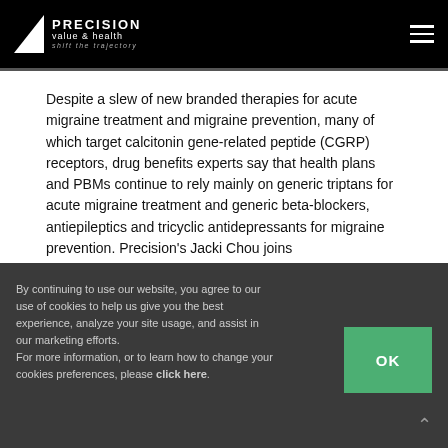PRECISION value & health — shift the trajectory
Despite a slew of new branded therapies for acute migraine treatment and migraine prevention, many of which target calcitonin gene-related peptide (CGRP) receptors, drug benefits experts say that health plans and PBMs continue to rely mainly on generic triptans for acute migraine treatment and generic beta-blockers, antiepileptics and tricyclic antidepressants for migraine prevention. Precision's Jacki Chou joins
By continuing to use our website, you agree to our use of cookies to help us give you the best experience, analyze your site usage, and assist in our marketing efforts.
For more information, or to learn how to change your cookies preferences, please click here.